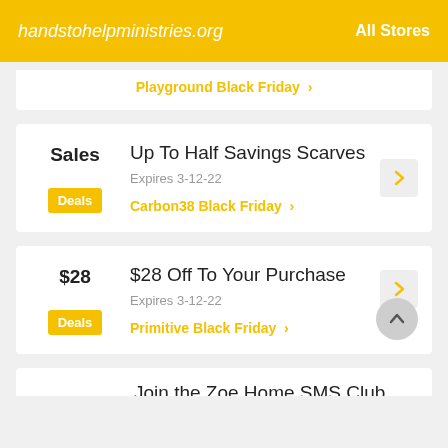handstohelpministries.org   All Stores
Playground Black Friday >
Sales
Deals
Up To Half Savings Scarves
Expires 3-12-22
Carbon38 Black Friday >
$28
Deals
$28 Off To Your Purchase
Expires 3-12-22
Primitive Black Friday >
Join the Zoe Home SMS Club